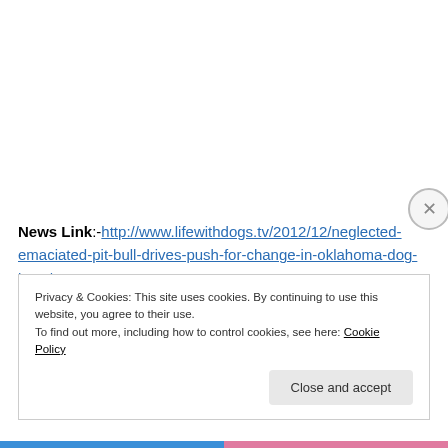News Link:-http://www.lifewithdogs.tv/2012/12/neglected-emaciated-pit-bull-drives-push-for-change-in-oklahoma-dog-laws/?
Privacy & Cookies: This site uses cookies. By continuing to use this website, you agree to their use.
To find out more, including how to control cookies, see here: Cookie Policy
Close and accept